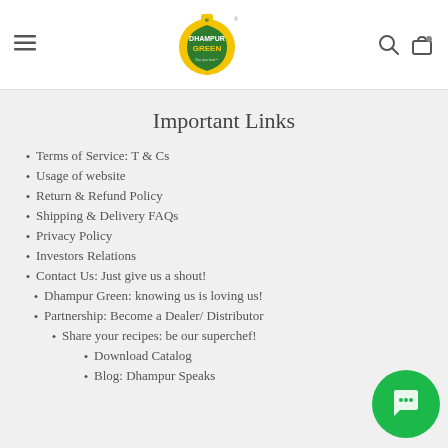[Figure (logo): Dhampur Green logo with hamburger menu, search and cart icons in website header]
Important Links
Terms of Service: T & Cs
Usage of website
Return & Refund Policy
Shipping & Delivery FAQs
Privacy Policy
Investors Relations
Contact Us: Just give us a shout!
Dhampur Green: knowing us is loving us!
Partnership: Become a Dealer/ Distributor
Share your recipes: be our superchef!
Download Catalog
Blog: Dhampur Speaks